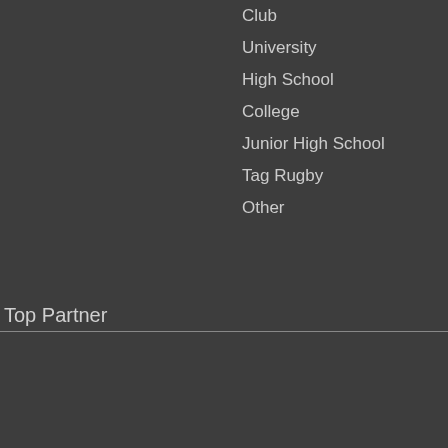Club
University
High School
College
Junior High School
Tag Rugby
Other
Top Partner